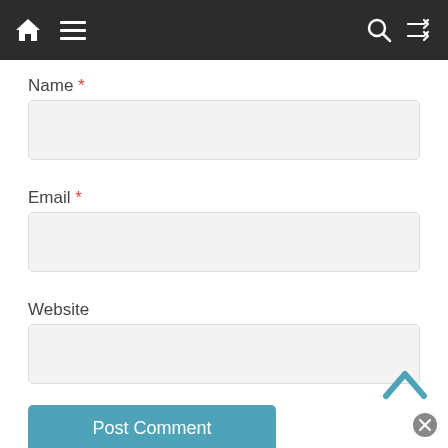Navigation bar with home, menu, search, and shuffle icons
Name *
[Figure (screenshot): Empty text input field for Name]
Email *
[Figure (screenshot): Empty text input field for Email]
Website
[Figure (screenshot): Empty text input field for Website]
Post Comment
[Figure (screenshot): Chevron-up back-to-top arrow button and close circle icon in bottom right]